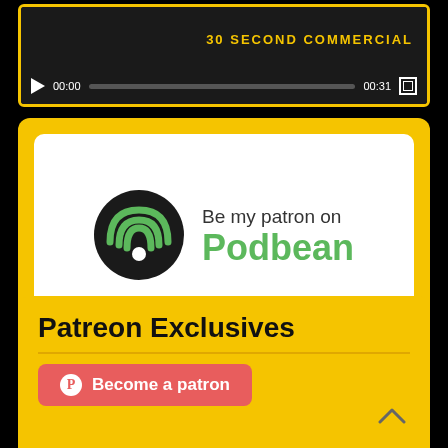[Figure (screenshot): Video player showing '30 SECOND COMMERCIAL' with play button, time display 00:00, progress bar, duration 00:31, and fullscreen button on dark background with yellow border]
[Figure (logo): Podbean logo with black circle containing green wifi-like signal arcs and white circle dot, next to text 'Be my patron on Podbean' in green, on white background inside yellow rounded card]
Patreon Exclusives
[Figure (other): Red 'Become a patron' button with Patreon circle icon]